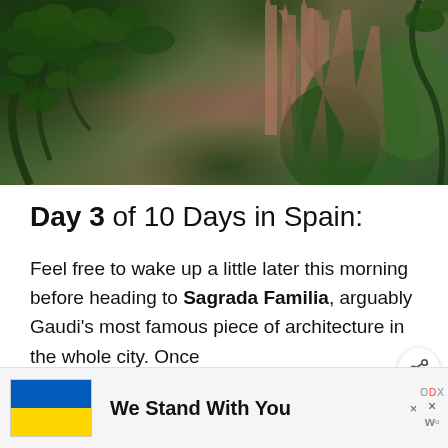[Figure (photo): Photograph showing green tree branches and leaves in the foreground with the spires of Sagrada Familia cathedral visible through the foliage in the background. Lush greenery surrounds the pink-stone Gothic towers.]
Day 3 of 10 Days in Spain:
Feel free to wake up a little later this morning before heading to Sagrada Familia, arguably Gaudi's most famous piece of architecture in the whole city. Once
[Figure (infographic): Advertisement banner with Ukrainian flag (blue and yellow) on left, text 'We Stand With You' in bold black, and close buttons on the right.]